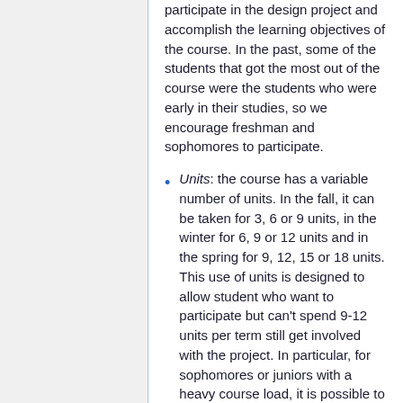participate in the design project and accomplish the learning objectives of the course. In the past, some of the students that got the most out of the course were the students who were early in their studies, so we encourage freshman and sophomores to participate.
Units: the course has a variable number of units. In the fall, it can be taken for 3, 6 or 9 units, in the winter for 6, 9 or 12 units and in the spring for 9, 12, 15 or 18 units. This use of units is designed to allow student who want to participate but can't spend 9-12 units per term still get involved with the project. In particular, for sophomores or juniors with a heavy course load, it is possible to take the course at the